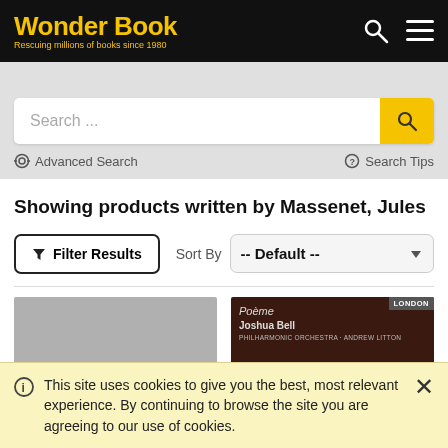Wonder Book — Rescuing millions of books since 1980
Search ...
Advanced Search
Search Tips
Showing products written by Massenet, Jules
Filter Results
Sort By  -- Default --
[Figure (photo): Gray hardcover book thumbnail]
[Figure (photo): Dark red album cover: Poème, Joshua Bell, Andrew Litton, London label]
This site uses cookies to give you the best, most relevant experience. By continuing to browse the site you are agreeing to our use of cookies.